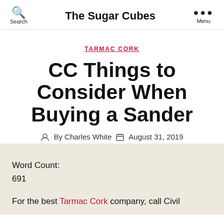Search   The Sugar Cubes   Menu
TARMAC CORK
CC Things to Consider When Buying a Sander
By Charles White   August 31, 2019
Word Count:
691
For the best Tarmac Cork company, call Civil